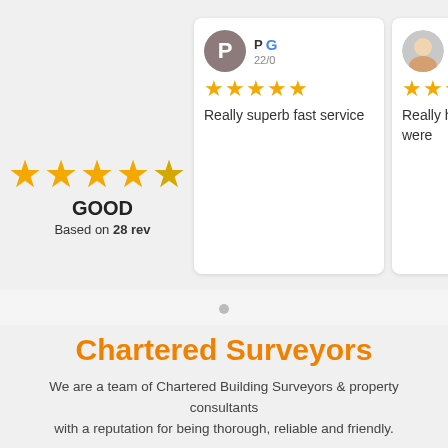[Figure (infographic): Star rating widget showing large gold stars with GOOD label and 'Based on 28 reviews' text on left side]
[Figure (infographic): Three Google review cards with avatars, star ratings, and review text snippets. Card 1: reviewer P, 22/0, 5 stars, 'Really superb fast service'. Card 2: reviewer S (photo), 01/0, 5 stars, 'Really helpful team - they were'. Card 3: reviewer J, 16/0, 5 stars, 'When you have builders in, it can']
Chartered Surveyors
We are a team of Chartered Building Surveyors & property consultants with a reputation for being thorough, reliable and friendly.
Our clients include home owners, private landlords, housing associations, local authorities, property management companies, businesses, property